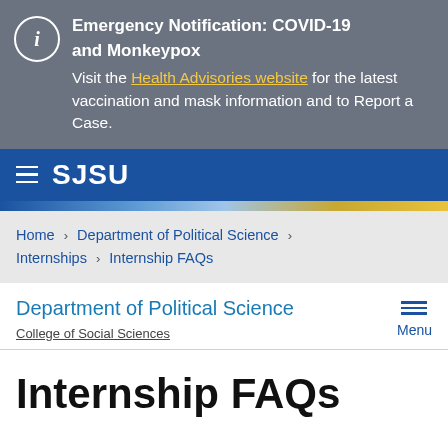Emergency Notification: COVID-19 and Monkeypox
Visit the Health Advisories website for the latest vaccination and mask information and to Report a Case.
SJSU
Home › Department of Political Science › Internships › Internship FAQs
Department of Political Science
College of Social Sciences
Internship FAQs